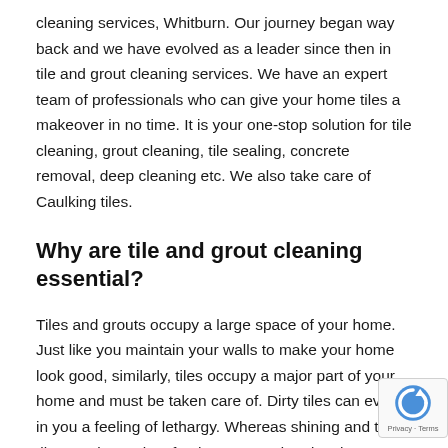cleaning services, Whitburn. Our journey began way back and we have evolved as a leader since then in tile and grout cleaning services. We have an expert team of professionals who can give your home tiles a makeover in no time. It is your one-stop solution for tile cleaning, grout cleaning, tile sealing, concrete removal, deep cleaning etc. We also take care of Caulking tiles.
Why are tile and grout cleaning essential?
Tiles and grouts occupy a large space of your home. Just like you maintain your walls to make your home look good, similarly, tiles occupy a major part of your home and must be taken care of. Dirty tiles can evoke in you a feeling of lethargy. Whereas shining and tidy tiles can instantly refresh your mood and make your living spaces worth living. It can m... lasting impression and improve the overall look of your h... With us by your side, you wouldn't face any difficulty fin...